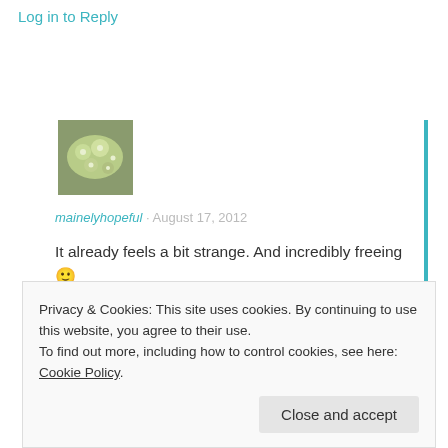Log in to Reply
[Figure (photo): Small avatar image showing green floral/plant decoration]
mainelyhopeful · August 17, 2012
It already feels a bit strange. And incredibly freeing 🙂
★ Like
Log in to Reply
Privacy & Cookies: This site uses cookies. By continuing to use this website, you agree to their use.
To find out more, including how to control cookies, see here: Cookie Policy
Close and accept